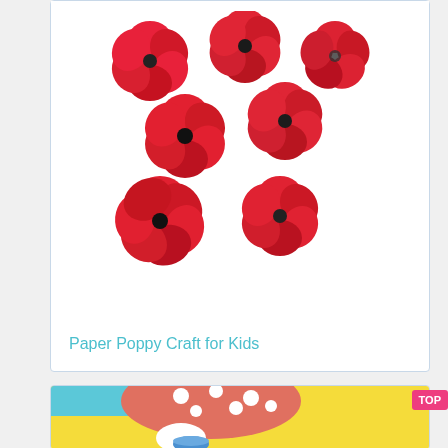[Figure (photo): Multiple handmade red paper poppy flowers with dark centers, arranged on a white background]
Paper Poppy Craft for Kids
[Figure (illustration): Illustrated scene with a red polka-dot mushroom cap, white character, blue bowl on yellow background]